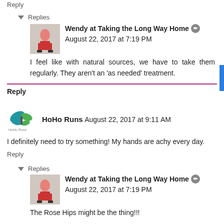Reply
▾ Replies
Wendy at Taking the Long Way Home August 22, 2017 at 7:19 PM
I feel like with natural sources, we have to take them regularly. They aren't an 'as needed' treatment.
Reply
HoHo Runs August 22, 2017 at 9:11 AM
I definitely need to try something! My hands are achy every day.
Reply
▾ Replies
Wendy at Taking the Long Way Home August 22, 2017 at 7:19 PM
The Rose Hips might be the thing!!!